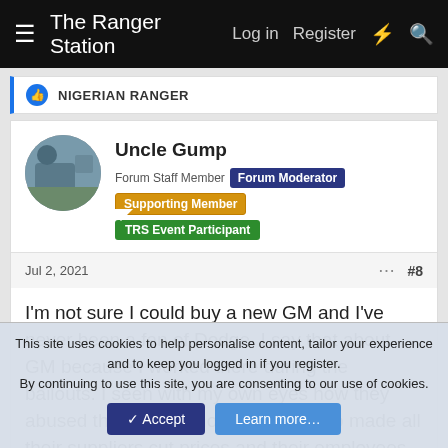The Ranger Station  Log in  Register
NIGERIAN RANGER
Uncle Gump
Forum Staff Member  Forum Moderator  Supporting Member  TRS Event Participant
Jul 2, 2021  #8
I'm not sure I could buy a new GM and I've never been a fan of Dodge. I say that about GM because I worked there during the bailouts. I seen with my own eyes how they abused that bailout money... they also made all their suppliers cut prices and their employees take pay cuts. But at the same time gave their own employees raises and
This site uses cookies to help personalise content, tailor your experience and to keep you logged in if you register.
By continuing to use this site, you are consenting to our use of cookies.